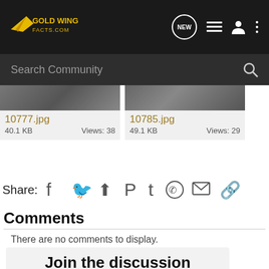GoldWingFacts.com
Search Community
[Figure (photo): Thumbnail image for 10777.jpg]
10777.jpg
40.1 KB   Views: 38
[Figure (photo): Thumbnail image for 10785.jpg]
10785.jpg
49.1 KB   Views: 29
Share:
Comments
There are no comments to display.
Join the discussion